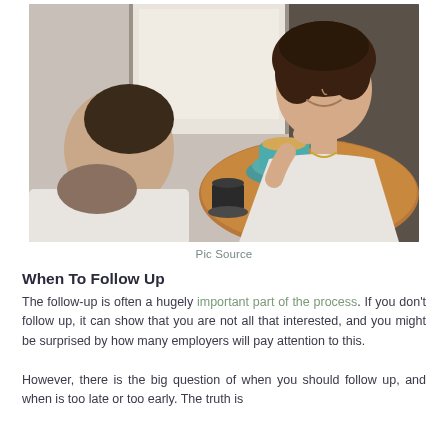[Figure (photo): Two people sitting across from each other at a cafe table. A woman with curly dark hair is smiling and resting her chin on her hand. A teal coffee cup and saucer sit on the table. A bearded man is seen from behind in the foreground. Natural light comes through a window in the background.]
Pic Source
When To Follow Up
The follow-up is often a hugely important part of the process. If you don't follow up, it can show that you are not all that interested, and you might be surprised by how many employers will pay attention to this. However, there is the big question of when you should follow up, and when is too late or too early. The truth is